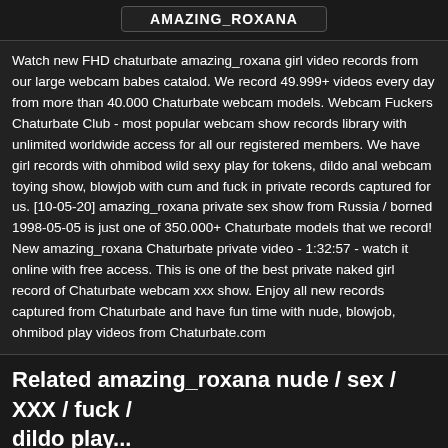AMAZING_ROXANA
Watch new FHD chaturbate amazing_roxana girl video records from our large webcam babes catalod. We record 49.999+ videos every day from more than 40.000 Chaturbate webcam models. Webcam Fuckers Chaturbate Club - most popular webcam show records library with unlimited worldwide access for all our registered members. We have girl records with ohmibod wild sexy play for tokens, dildo anal webcam toying show, blowjob with cum and fuck in private records captured for us. [10-05-20] amazing_roxana private sex show from Russia / borned 1998-05-05 is just one of 350.000+ Chaturbate models that we record! New amazing_roxana Chaturbate private video - 1:32:57 - watch it online with free access. This is one of the best private naked girl record of Chaturbate webcam xxx show. Enjoy all new records captured from Chaturbate and have fun time with nude, blowjob, ohmibod play videos from Chaturbate.com
Related amazing_roxana nude / sex / XXX / fuck / ...